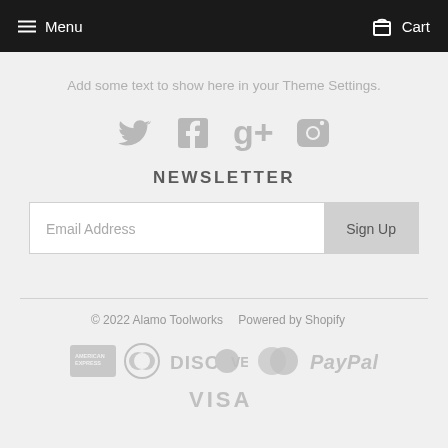Menu   Cart
Add some text to show here in your Theme Settings.
[Figure (infographic): Social media icons: Twitter, Facebook, Google+, Instagram in gray]
NEWSLETTER
Email Address  Sign Up
© 2022 Alamo Toolworks   Powered by Shopify
[Figure (infographic): Payment method logos: American Express, Diners Club, Discover, MasterCard, PayPal, Visa in gray]